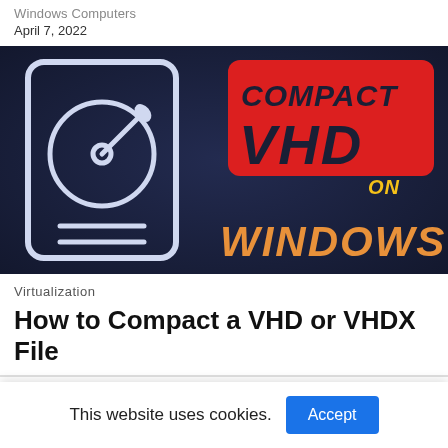Windows Computers
April 7, 2022
[Figure (illustration): Dark navy background with a white outlined hard disk drive icon on the left and bold text on the right: 'COMPACT VHD' in a red rounded rectangle (italic black), 'ON' in yellow italic below, and 'WINDOWS' in large orange italic text.]
Virtualization
How to Compact a VHD or VHDX File
This website uses cookies.